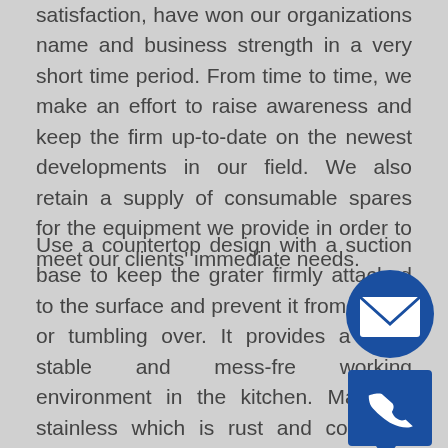satisfaction, have won our organizations name and business strength in a very short time period. From time to time, we make an effort to raise awareness and keep the firm up-to-date on the newest developments in our field. We also retain a supply of consumable spares for the equipment we provide in order to meet our clients' immediate needs.
Use a countertop design with a suction base to keep the grater firmly attached to the surface and prevent it from sliding or tumbling over. It provides a more stable and mess-free working environment in the kitchen. Made of stainless which is rust and corrosion resistant, as well as strong and solid. The vegetable cutter sections are easy to disassemble and may be cleaned in the dishwasher. Resistance welding used to join each profile wire and support rod, making it for pulp and paper, water clarifying, dewatering, and other liquid/solid separation applications. Rotary screens may be customised to fit the demands of each location and the type of suspended particles present. The support rods and each
[Figure (illustration): Blue circle with white envelope/email icon]
[Figure (illustration): Blue speech bubble with white telephone/phone icon]